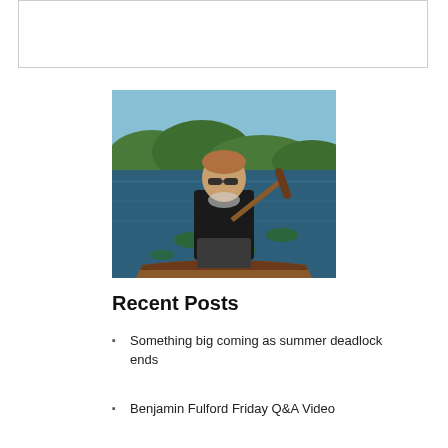[Figure (photo): Man paddling a canoe on a lake surrounded by water lilies and trees, wearing sunglasses and a dark t-shirt]
Recent Posts
Something big coming as summer deadlock ends
Benjamin Fulford Friday Q&A Video